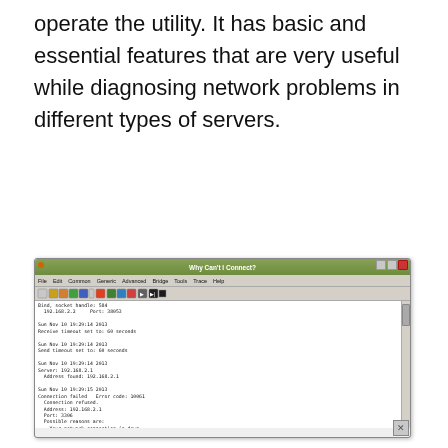operate the utility. It has basic and essential features that are very useful while diagnosing network problems in different types of servers.
[Figure (screenshot): Screenshot of 'Why Can't I Connect?' network diagnostic utility window showing connection log output. The log shows bind socket handle 584, IP 192.168.2.2 Port 38053, receive/send timeout set to 60 seconds, server 192.168.2.1 address found, then connection failed with error code 10061 (connection refused, port 3306) with possible reasons listed.]